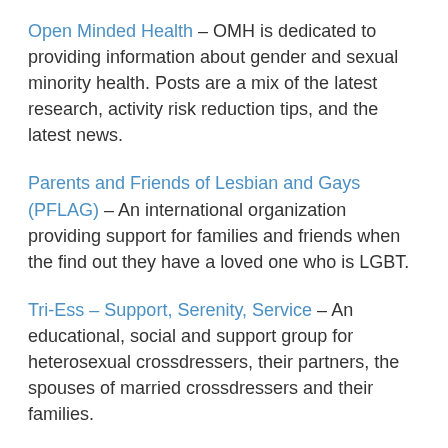Open Minded Health – OMH is dedicated to providing information about gender and sexual minority health. Posts are a mix of the latest research, activity risk reduction tips, and the latest news.
Parents and Friends of Lesbian and Gays (PFLAG) – An international organization providing support for families and friends when the find out they have a loved one who is LGBT.
Tri-Ess – Support, Serenity, Service – An educational, social and support group for heterosexual crossdressers, their partners, the spouses of married crossdressers and their families.
Unid@s, the National Latina/o LGBT Human Rights Organization – Organization founded in 2007 to fight for